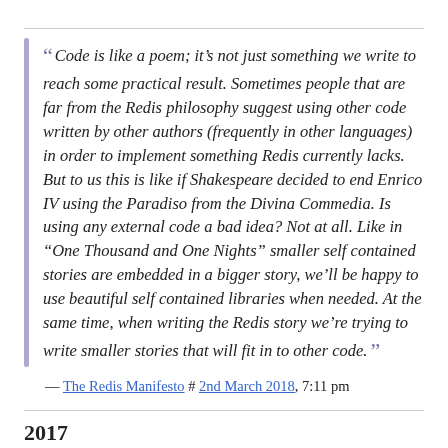“ Code is like a poem; it’s not just something we write to reach some practical result. Sometimes people that are far from the Redis philosophy suggest using other code written by other authors (frequently in other languages) in order to implement something Redis currently lacks. But to us this is like if Shakespeare decided to end Enrico IV using the Paradiso from the Divina Commedia. Is using any external code a bad idea? Not at all. Like in “One Thousand and One Nights” smaller self contained stories are embedded in a bigger story, we’ll be happy to use beautiful self contained libraries when needed. At the same time, when writing the Redis story we’re trying to write smaller stories that will fit in to other code. ”
— The Redis Manifesto # 2nd March 2018, 7:11 pm
2017